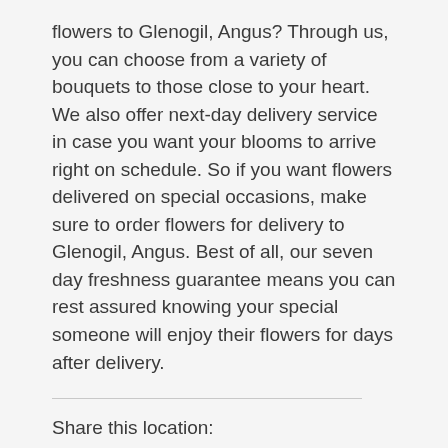flowers to Glenogil, Angus? Through us, you can choose from a variety of bouquets to those close to your heart. We also offer next-day delivery service in case you want your blooms to arrive right on schedule. So if you want flowers delivered on special occasions, make sure to order flowers for delivery to Glenogil, Angus. Best of all, our seven day freshness guarantee means you can rest assured knowing your special someone will enjoy their flowers for days after delivery.
Share this location:
[Figure (other): Twitter and Facebook social share buttons]